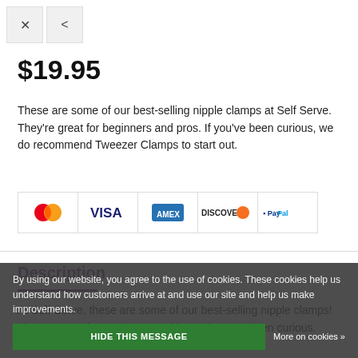[Figure (screenshot): Two toolbar buttons: close (×) and share (<)]
$19.95
These are some of our best-selling nipple clamps at Self Serve. They're great for beginners and pros. If you've been curious, we do recommend Tweezer Clamps to start out.
[Figure (other): Payment method icons: Mastercard, Visa, American Express, Discover, PayPal]
Description
At Self Serve, these are some of our best-selling nipple clamps! They're great for beginners and bros. If you've been curious.
By using our website, you agree to the use of cookies. These cookies help us understand how customers arrive at and use our site and help us make improvements.